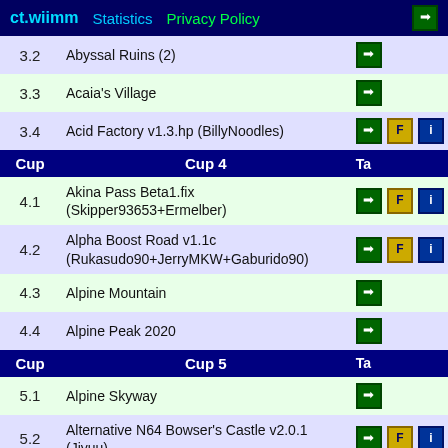ct.wiimm  Statistics  Privacy Policy
| Cup | Name | Buttons | Ta |
| --- | --- | --- | --- |
| 3.2 | Abyssal Ruins (2) | → |  |
| 3.3 | Acaia's Village | → |  |
| 3.4 | Acid Factory v1.3.hp (BillyNoodles) | → F i |  |
| Cup | Cup 4 |  | Ta |
| 4.1 | Akina Pass Beta1.fix (Skipper93653+Ermelber) | → F i |  |
| 4.2 | Alpha Boost Road v1.1c (Rukasudo90+JerryMKW+Gaburido90) | → F i |  |
| 4.3 | Alpine Mountain | → |  |
| 4.4 | Alpine Peak 2020 | → |  |
| Cup | Cup 5 |  | Ta |
| 5.1 | Alpine Skyway | → |  |
| 5.2 | Alternative N64 Bowser's Castle v2.0.1 (Jiyuu) | → F i |  |
| 5.3 | Andrychów RC1 (Gabriela) | → F i |  |
| 5.4 | Anime Circuit | → |  |
| Cup | Cup 6 |  | Ta |
| 6.1 | Anthro Valley Beta3.1 (BillyNoodles) | → F i |  |